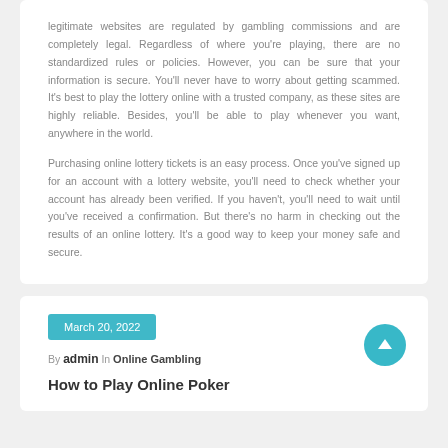legitimate websites are regulated by gambling commissions and are completely legal. Regardless of where you're playing, there are no standardized rules or policies. However, you can be sure that your information is secure. You'll never have to worry about getting scammed. It's best to play the lottery online with a trusted company, as these sites are highly reliable. Besides, you'll be able to play whenever you want, anywhere in the world.
Purchasing online lottery tickets is an easy process. Once you've signed up for an account with a lottery website, you'll need to check whether your account has already been verified. If you haven't, you'll need to wait until you've received a confirmation. But there's no harm in checking out the results of an online lottery. It's a good way to keep your money safe and secure.
March 20, 2022
By admin In Online Gambling
How to Play Online Poker